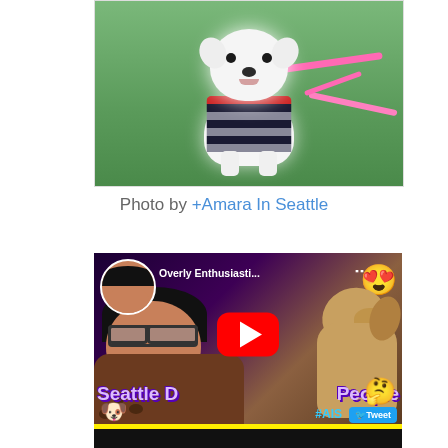[Figure (photo): A small white fluffy dog wearing a navy blue and red striped shirt/outfit, sitting outdoors on grass with pink leashes visible in the background.]
Photo by +Amara In Seattle
[Figure (screenshot): A YouTube video thumbnail for a video titled 'Overly Enthusiasti...' showing a laughing woman with glasses on the left and a golden dog on the right, with text 'Seattle Dog People', a YouTube play button in the center, emojis including heart-eyes, thinking face, and dog emoji, and #AIS and Tweet hashtag buttons.]